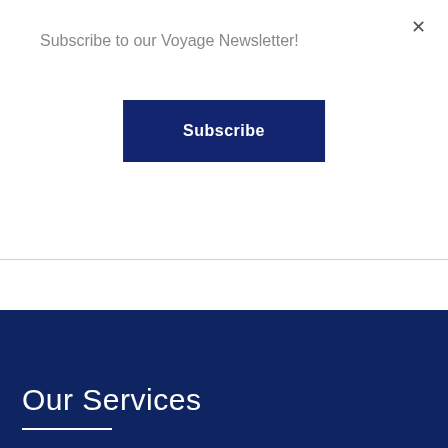Subscribe to our Voyage Newsletter!
×
Subscribe
Our Services